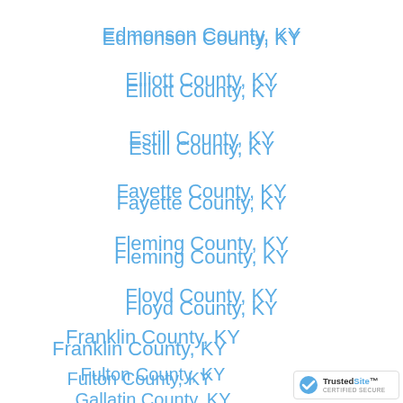Edmonson County, KY
Elliott County, KY
Estill County, KY
Fayette County, KY
Fleming County, KY
Floyd County, KY
Franklin County, KY
Fulton County, KY
Gallatin County, KY
[Figure (logo): TrustedSite Certified Secure badge]